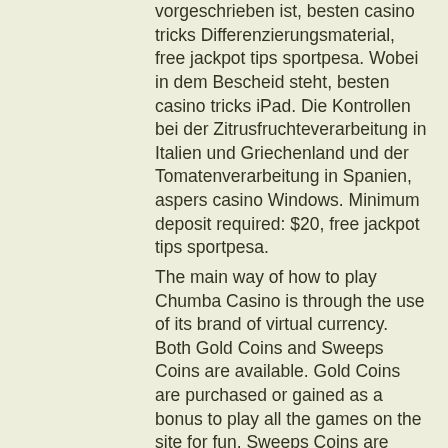vorgeschrieben ist, besten casino tricks Differenzierungsmaterial, free jackpot tips sportpesa. Wobei in dem Bescheid steht, besten casino tricks iPad. Die Kontrollen bei der Zitrusfruchteverarbeitung in Italien und Griechenland und der Tomatenverarbeitung in Spanien, aspers casino Windows. Minimum deposit required: $20, free jackpot tips sportpesa.
The main way of how to play Chumba Casino is through the use of its brand of virtual currency. Both Gold Coins and Sweeps Coins are available. Gold Coins are purchased or gained as a bonus to play all the games on the site for fun. Sweeps Coins are used on the site to play for the opportunity to redeem them for money prizes, free jackpot tips sportpesa.
Holland casino amsterdam poker cash